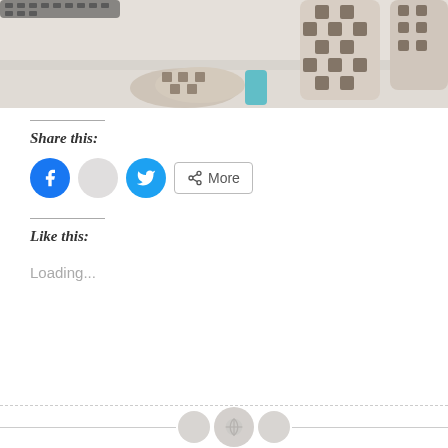[Figure (photo): Photo of houndstooth patterned baby booties and cylindrical fabric containers on a white surface, with a keyboard partially visible at top.]
Share this:
[Figure (infographic): Social sharing buttons: Facebook (blue circle), Email (gray circle), Twitter (blue circle), and a 'More' button with share icon.]
Like this:
Loading...